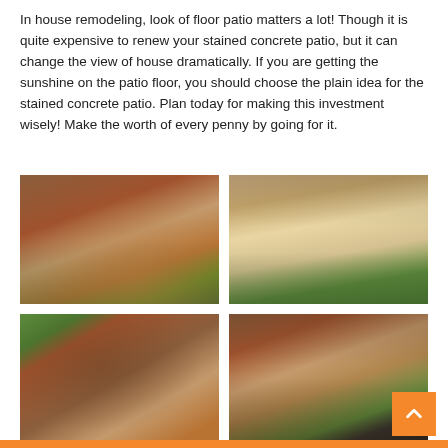In house remodeling, look of floor patio matters a lot! Though it is quite expensive to renew your stained concrete patio, but it can change the view of house dramatically. If you are getting the sunshine on the patio floor, you should choose the plain idea for the stained concrete patio. Plan today for making this investment wisely! Make the worth of every penny by going for it.
[Figure (photo): Stained brown concrete patio floor with curved edge, trees and water visible in background]
[Figure (photo): Light beige stamped concrete patio with large stone fireplace structure, iron fence and trees in background]
[Figure (photo): Brown stained concrete patio with curved stone outdoor fireplace/pizza oven structure and green lawn]
[Figure (photo): Brown stained concrete patio with curved dark border edge, outdoor furniture, brick house, and garden]